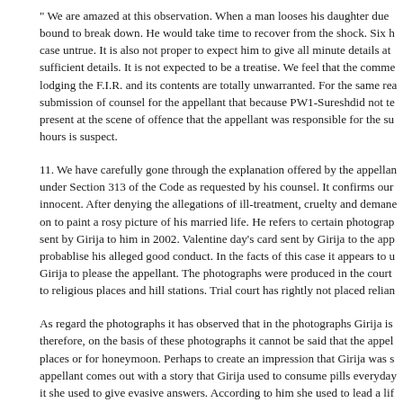" We are amazed at this observation. When a man looses his daughter due bound to break down. He would take time to recover from the shock. Six h case untrue. It is also not proper to expect him to give all minute details at sufficient details. It is not expected to be a treatise. We feel that the comme lodging the F.I.R. and its contents are totally unwarranted. For the same rea submission of counsel for the appellant that because PW1-Sureshdid not te present at the scene of offence that the appellant was responsible for the su hours is suspect.
11. We have carefully gone through the explanation offered by the appellan under Section 313 of the Code as requested by his counsel. It confirms our innocent. After denying the allegations of ill-treatment, cruelty and demane on to paint a rosy picture of his married life. He refers to certain photograp sent by Girija to him in 2002. Valentine day's card sent by Girija to the app probablise his alleged good conduct. In the facts of this case it appears to u Girija to please the appellant. The photographs were produced in the court to religious places and hill stations. Trial court has rightly not placed relian
As regard the photographs it has observed that in the photographs Girija is therefore, on the basis of these photographs it cannot be said that the appel places or for honeymoon. Perhaps to create an impression that Girija was s appellant comes out with a story that Girija used to consume pills everyday it she used to give evasive answers. According to him she used to lead a lif preferred loneliness. She never watched T.V., she never read any newspaper her about it she stated that she had an eye problem. He has further gone